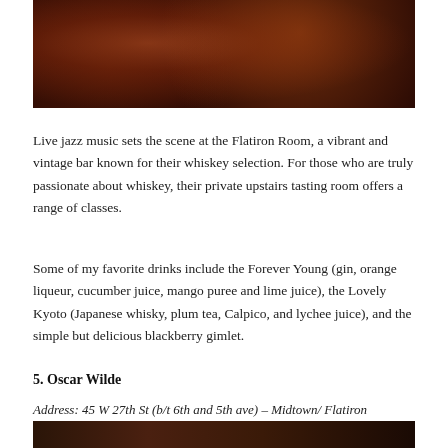[Figure (photo): Interior of Flatiron Room bar with patrons seated at tables under warm red/orange lighting, dim ambient atmosphere]
Live jazz music sets the scene at the Flatiron Room, a vibrant and vintage bar known for their whiskey selection. For those who are truly passionate about whiskey, their private upstairs tasting room offers a range of classes.
Some of my favorite drinks include the Forever Young (gin, orange liqueur, cucumber juice, mango puree and lime juice), the Lovely Kyoto (Japanese whisky, plum tea, Calpico, and lychee juice), and the simple but delicious blackberry gimlet.
5. Oscar Wilde
Address: 45 W 27th St (b/t 6th and 5th ave) – Midtown/ Flatiron
[Figure (photo): Bottom portion of another bar interior photo, dark amber/golden lighting]